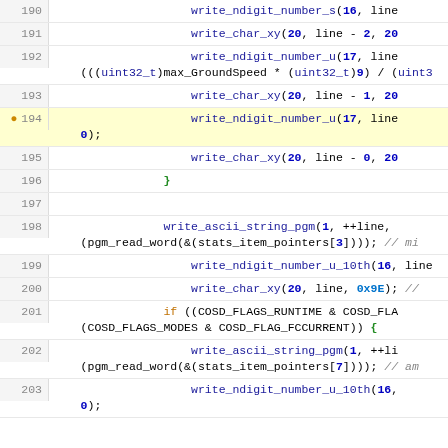[Figure (screenshot): Source code editor showing lines 190-203 of C/embedded code with syntax highlighting. Line 194 is highlighted in yellow. Code shows calls to write_ndigit_number_s, write_char_xy, write_ndigit_number_u, write_ascii_string_pgm, write_ndigit_number_u_10th, and conditional checks for COSD flags.]